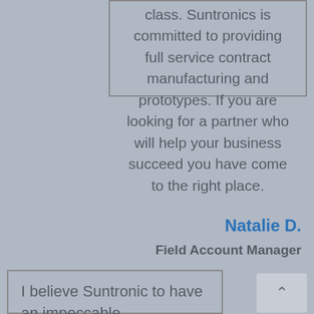class. Suntronics is committed to providing full service contract manufacturing and prototypes. If you are looking for a partner who will help your business succeed you have come to the right place.
Natalie D.
Field Account Manager
I believe Suntronic to have an impeccable